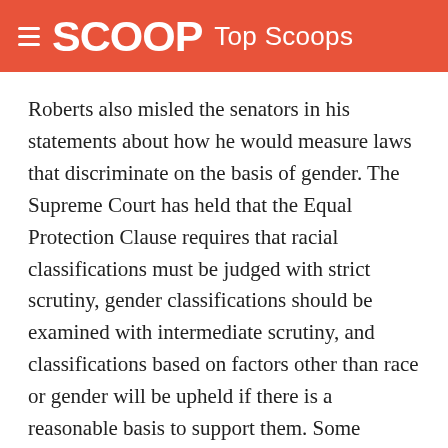SCOOP Top Scoops
Roberts also misled the senators in his statements about how he would measure laws that discriminate on the basis of gender. The Supreme Court has held that the Equal Protection Clause requires that racial classifications must be judged with strict scrutiny, gender classifications should be examined with intermediate scrutiny, and classifications based on factors other than race or gender will be upheld if there is a reasonable basis to support them. Some heightened level of scrutiny is necessary only if the classifications discriminate based on race or gender.
Roberts told the committee that he had always